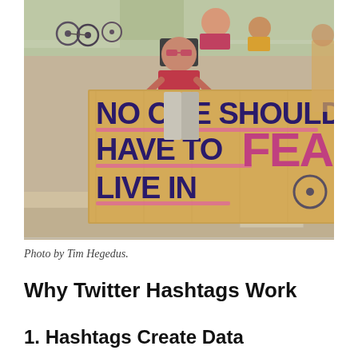[Figure (photo): A person holding a large cardboard sign reading 'NO ONE SHOULD HAVE TO LIVE IN FEAR' at an outdoor protest. The word FEAR is written in large pink letters. People and bicycles are visible in the background.]
Photo by Tim Hegedus.
Why Twitter Hashtags Work
1. Hashtags Create Data